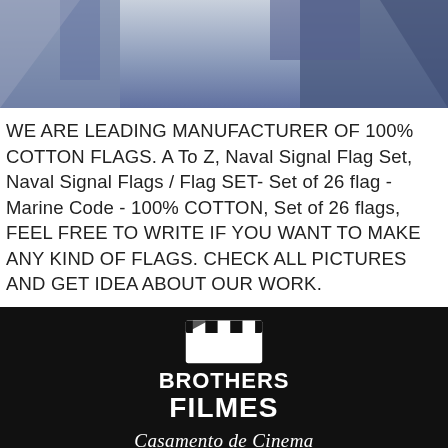[Figure (photo): Partial view of cotton flags in blue/grey tones, cropped at top of page]
WE ARE LEADING MANUFACTURER OF 100% COTTON FLAGS. A To Z, Naval Signal Flag Set, Naval Signal Flags / Flag SET- Set of 26 flag - Marine Code - 100% COTTON, Set of 26 flags, FEEL FREE TO WRITE IF YOU WANT TO MAKE ANY KIND OF FLAGS. CHECK ALL PICTURES AND GET IDEA ABOUT OUR WORK.
[Figure (logo): Brothers Filmes logo with clapperboard icon, bold text BROTHERS FILMES, and cursive tagline Casamento de Cinema on black background, with hamburger menu icon below]